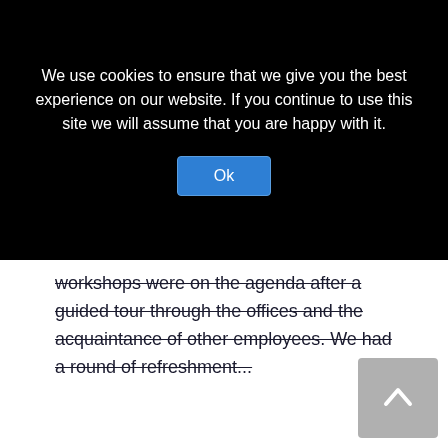We use cookies to ensure that we give you the best experience on our website. If you continue to use this site we will assume that you are happy with it.
Ok
workshops were on the agenda after a guided tour through the offices and the acquaintance of other employees. We had a round of refreshment...